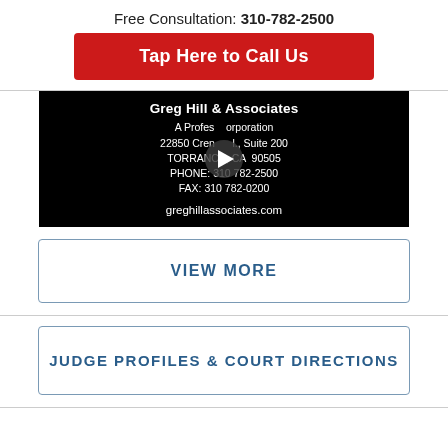Free Consultation: 310-782-2500
Tap Here to Call Us
[Figure (screenshot): Video thumbnail showing Greg Hill & Associates law firm contact card on black background with play button. Text reads: Greg Hill & Associates, A Professional Corporation, 22850 Crenshaw Blvd., Suite 200, TORRANCE, CA 90505, PHONE: 310 782-2500, FAX: 310 782-0200, greghillassociates.com]
VIEW MORE
JUDGE PROFILES & COURT DIRECTIONS